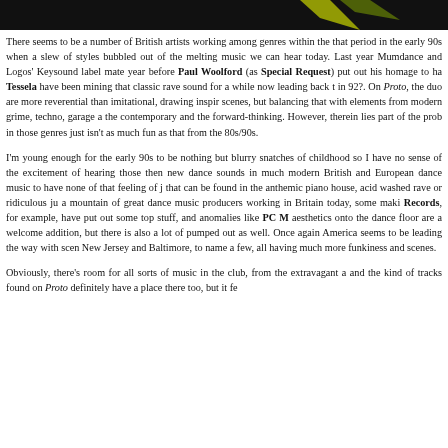[Figure (photo): Dark black image bar at the top of the page with a faint yellow/green accent or streak visible]
There seems to be a number of British artists working among genres within the that period in the early 90s when a slew of styles bubbled out of the melting music we can hear today. Last year Mumdance and Logos' Keysound label mate year before Paul Woolford (as Special Request) put out his homage to ha Tessela have been mining that classic rave sound for a while now leading back in 92?. On Proto, the duo are more reverential than imitational, drawing inspir scenes, but balancing that with elements from modern grime, techno, garage a the contemporary and the forward-thinking. However, therein lies part of the prob in those genres just isn't as much fun as that from the 80s/90s.
I'm young enough for the early 90s to be nothing but blurry snatches of childhood so I have no sense of the excitement of hearing those then new dance sounds in much modern British and European dance music to have none of that feeling of j that can be found in the anthemic piano house, acid washed rave or ridiculous ju a mountain of great dance music producers working in Britain today, some maki Records, for example, have put out some top stuff, and anomalies like PC M aesthetics onto the dance floor are a welcome addition, but there is also a lot of pumped out as well. Once again America seems to be leading the way with scen New Jersey and Baltimore, to name a few, all having much more funkiness and scenes.
Obviously, there's room for all sorts of music in the club, from the extravagant a and the kind of tracks found on Proto definitely have a place there too, but it fe